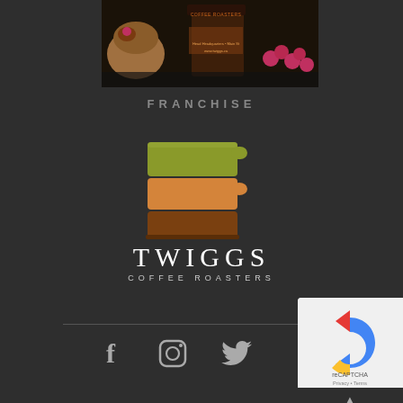[Figure (photo): Photo of coffee cup with Twiggs Coffee Roasters branding, alongside a pastry/muffin and fresh raspberries on a dark background]
FRANCHISE
[Figure (logo): Twiggs Coffee Roasters logo: stylized coffee mug icon with stacked colored layers (olive green top, orange middle, brown bottom) with a handle, above the text TWIGGS COFFEE ROASTERS]
TWIGGS
COFFEE ROASTERS
[Figure (other): Social media icons: Facebook (f), Instagram (camera), Twitter (bird) in light gray on dark background]
[Figure (other): reCAPTCHA widget overlay in bottom right corner with logo and terms text]